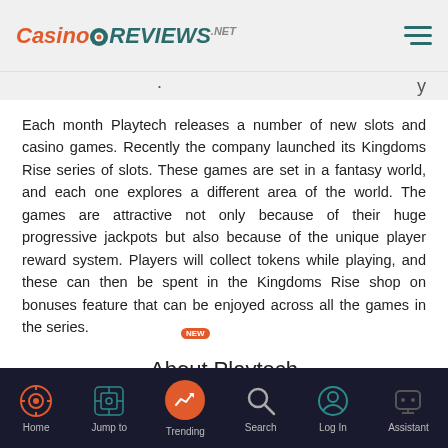CasinoReviews.net
Each month Playtech releases a number of new slots and casino games. Recently the company launched its Kingdoms Rise series of slots. These games are set in a fantasy world, and each one explores a different area of the world. The games are attractive not only because of their huge progressive jackpots but also because of the unique player reward system. Players will collect tokens while playing, and these can then be spent in the Kingdoms Rise shop on bonuses feature that can be enjoyed across all the games in the series.
About Playtech
Playtech was founded in 1999 in Tartu, Estonia, and its first casino went live in December 2001. Since then, the company has gone from success to success, and it now has offices around the world, including in Estonia, Ukraine, Bulgaria, Israel, and the UK.
Home | Jump to | Trending | Search | Log In | Assistant